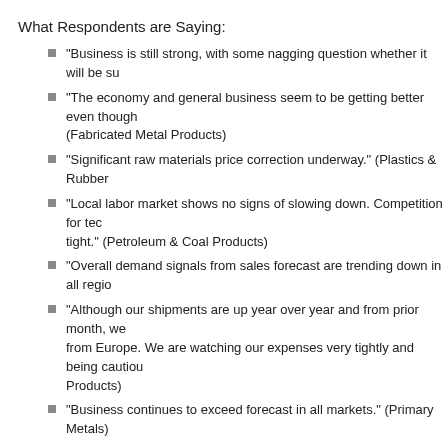What Respondents are Saying:
"Business is still strong, with some nagging question whether it will be su...
"The economy and general business seem to be getting better even though... (Fabricated Metal Products)
"Significant raw materials price correction underway." (Plastics & Rubber...)
"Local labor market shows no signs of slowing down. Competition for tec... tight." (Petroleum & Coal Products)
"Overall demand signals from sales forecast are trending down in all regio...
"Although our shipments are up year over year and from prior month, we... from Europe. We are watching our expenses very tightly and being cautiou... Products)
"Business continues to exceed forecast in all markets." (Primary Metals)
"Economy seems to be slowing slightly due to concerns in Europe; howev... deal." (Transportation Equipment)
"Business has started to show signs of slowing." (Furniture & Related Pro...)
"Slowing world economies, particularly China, are reducing 3Q and later... raw material prices." (Chemical Products)
Read the full June Manufacturing ISM Report On Business.